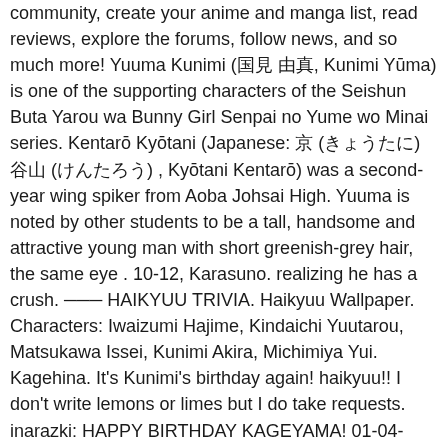community, create your anime and manga list, read reviews, explore the forums, follow news, and so much more! Yuuma Kunimi (国見 由真, Kunimi Yūma) is one of the supporting characters of the Seishun Buta Yarou wa Bunny Girl Senpai no Yume wo Minai series. Kentarō Kyōtani (Japanese: 京 (きょう) 谷山 (たにかわ) , Kyōtani Kentarō) was a second-year wing spiker from Aoba Johsai High. Yuuma is noted by other students to be a tall, handsome and attractive young man with short greenish-grey hair, the same eye . 10-12, Karasuno. realizing he has a crush. ─── HAIKYUU TRIVIA. Haikyuu Wallpaper. Characters: Iwaizumi Hajime, Kindaichi Yuutarou, Matsukawa Issei, Kunimi Akira, Michimiya Yui. Kagehina. It's Kunimi's birthday again! haikyuu!! I don't write lemons or limes but I do take requests. inarazki: HAPPY BIRTHDAY KAGEYAMA! 01-04-2018 - Haikyū!! haikyu haikyuu headcanons haikyuu imagines hq kenma kenma kozume haikyuu fanart i'm so sorry this exists kenma egg this is the last drawing thing I swear yes i know i am bad i just spend too much time humouring myself and my many moods to not at least post it or something also yes I'm